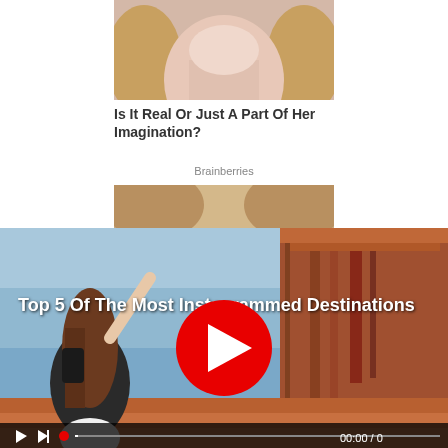[Figure (photo): Partial face image cropped at top, showing a woman's lower face with blonde hair]
Is It Real Or Just A Part Of Her Imagination?
Brainberries
[Figure (screenshot): Video player showing a woman with long hair raising her arm against a desert landscape with red rock formations (Monument Valley). Large red play button in center. Title text: 'Top 5 Of The Most Instagrammed Destinations'. Video controls at bottom showing 00:00 / 0.]